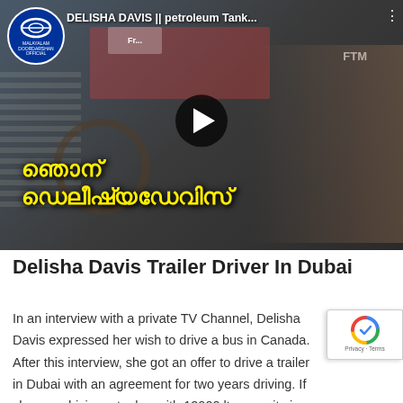[Figure (screenshot): YouTube video thumbnail showing a woman driving a large vehicle (bus/trailer) with Malayalam text overlaid in yellow reading approximately 'I am Delisha Davis'. Channel logo visible top-left (Doordarshan Malayalam). Video title bar reads 'DELISHA DAVIS || petroleum Tank...' with three-dots menu. Play button in center.]
Delisha Davis Trailer Driver In Dubai
In an interview with a private TV Channel, Delisha Davis expressed her wish to drive a bus in Canada. After this interview, she got an offer to drive a trailer in Dubai with an agreement for two years driving. If she was driving a tanker with 12000 ltr capacity in Kerala, she got the offer for driving a trailer with ltr capacity in Dubai. Since she is holding a valid Heavy lice and other related documents, the company will help her to get the